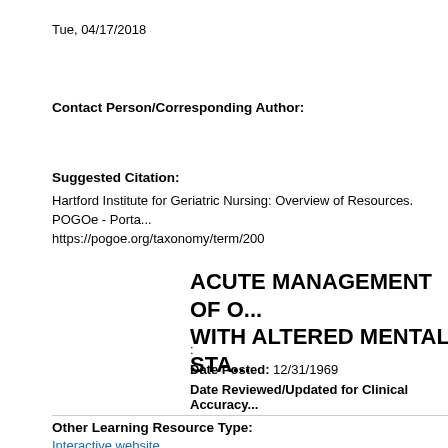Tue, 04/17/2018
Contact Person/Corresponding Author:
Suggested Citation:
Hartford Institute for Geriatric Nursing: Overview of Resources. POGOe - Porta... https://pogoe.org/taxonomy/term/200
ACUTE MANAGEMENT OF O... WITH ALTERED MENTAL STA...
:
Date Posted: 12/31/1969
Date Reviewed/Updated for Clinical Accuracy...
Other Learning Resource Type:
Interactive website